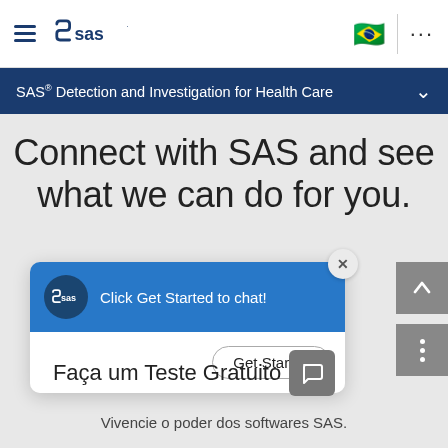[Figure (logo): SAS logo with hamburger menu icon on left, Brazilian flag and three-dot menu on right]
SAS® Detection and Investigation for Health Care
Connect with SAS and see what we can do for you.
[Figure (screenshot): Chat popup widget with SAS logo, 'Click Get Started to chat!' message, close button, and 'Get Started' button]
Faça um Teste Gratuito
Vivencie o poder dos softwares SAS.